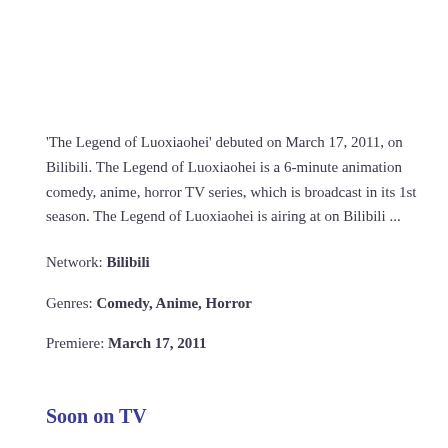'The Legend of Luoxiaohei' debuted on March 17, 2011, on Bilibili. The Legend of Luoxiaohei is a 6-minute animation comedy, anime, horror TV series, which is broadcast in its 1st season. The Legend of Luoxiaohei is airing at on Bilibili ...
Network: Bilibili
Genres: Comedy, Anime, Horror
Premiere: March 17, 2011
Soon on TV